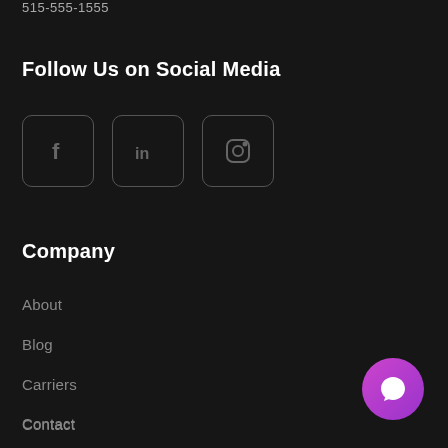515-555-1555
Follow Us on Social Media
[Figure (illustration): Three social media icon buttons: Facebook (f), LinkedIn (in), Instagram (camera icon), each in a rounded square outline]
Company
About
Blog
Carriers
Contact
FAQs
[Figure (illustration): Purple gradient circular chat button in the bottom right corner]